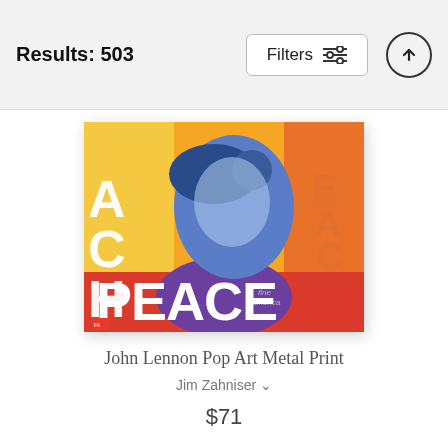Results: 503
[Figure (screenshot): Filters button with sliders icon and up-arrow circle button in the top navigation bar]
[Figure (photo): John Lennon Pop Art Metal Print - colorful pop art image with PEACE text, showing John Lennon's face in blue/purple tones against orange/yellow background]
John Lennon Pop Art Metal Print
Jim Zahniser
$71
Yesterday Metal Print